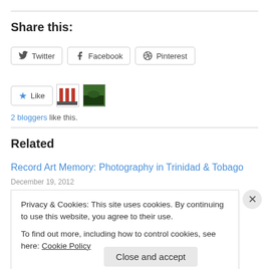Share this:
[Figure (other): Share buttons row: Twitter, Facebook, Pinterest]
[Figure (other): Like button with star icon, and two thumbnail images]
2 bloggers like this.
Related
Record Art Memory: Photography in Trinidad & Tobago
December 19, 2012
Privacy & Cookies: This site uses cookies. By continuing to use this website, you agree to their use.
To find out more, including how to control cookies, see here: Cookie Policy
Close and accept